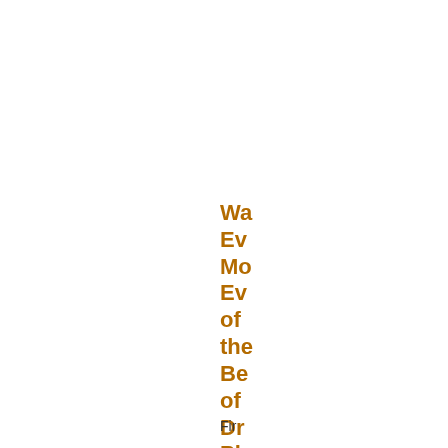Wa Ev Mo Ev of the Be of Dr Pl
Fir